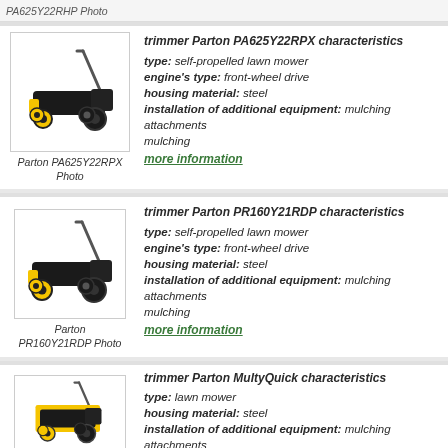[Figure (photo): Partial top strip showing PA625Y22RHP photo label]
[Figure (photo): Parton PA625Y22RPX lawn mower photo - black and yellow self-propelled mower]
Parton PA625Y22RPX Photo
trimmer Parton PA625Y22RPX characteristics type: self-propelled lawn mower engine's type: front-wheel drive housing material: steel installation of additional equipment: mulching attachments mulching more information
[Figure (photo): Parton PR160Y21RDP lawn mower photo - black and yellow self-propelled mower]
Parton PR160Y21RDP Photo
trimmer Parton PR160Y21RDP characteristics type: self-propelled lawn mower engine's type: front-wheel drive housing material: steel installation of additional equipment: mulching attachments mulching more information
[Figure (photo): Parton MultyQuick lawn mower photo - black and yellow mower]
trimmer Parton MultyQuick characteristics type: lawn mower housing material: steel installation of additional equipment: mulching attachments mulching